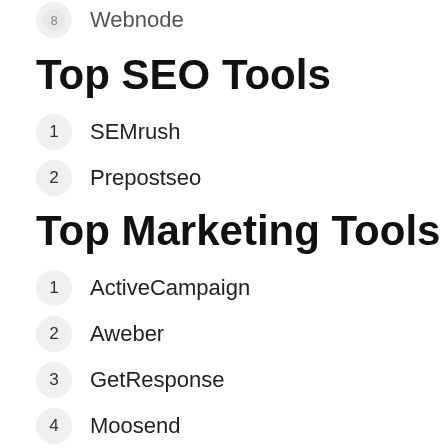Webnode
Top SEO Tools
1 SEMrush
2 Prepostseo
Top Marketing Tools
1 ActiveCampaign
2 Aweber
3 GetResponse
4 Moosend
5 Pabbly
6 Fiverr
7 ClickFunnels